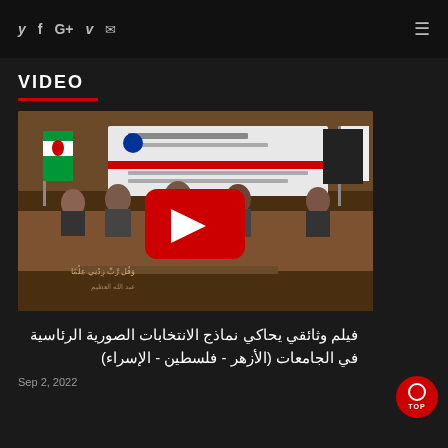Social icons: y f G+ v [mail] | Hamburger menu
VIDEO
[Figure (photo): Video thumbnail showing a panel of people seated at a table with a banner in Arabic about mock elections, with a red YouTube play button overlay]
فيلم وثائقي يحاكي نماذج الانتخابات الصورية الرئاسية في الجامعات (الأزهر - فلسطين - الإسراء)
Sep 2, 2022